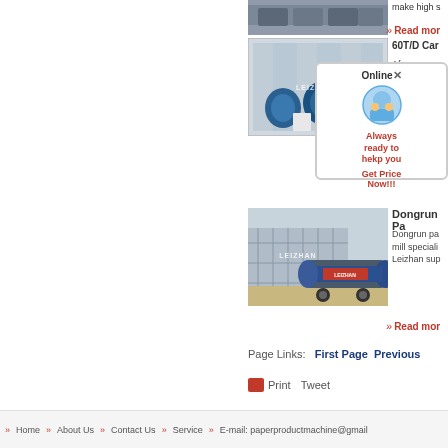[Figure (photo): First partial image at top showing industrial machinery/trucks]
make high s
» Read mor
[Figure (photo): 60T/D paper machine equipment loaded in shipping container]
60T/D Car
[Figure (infographic): Online chat popup with robot icon, 'Always ready to hekp you' text in red, and 'Get Price Now!!!' button]
Afr...e customer...m there...0
» Read mor
[Figure (photo): Dongrun paper mill equipment - large cylindrical tank on truck in front of building under construction]
Dongrun Pa
Dongrun pa...mill specializa...Leizhan sup
» Read mor
Page Links:   First Page   Previous
Print   Tweet
» Home   » About Us   » Contact Us   » Service   » E-mail: paperproductmachine@gmail